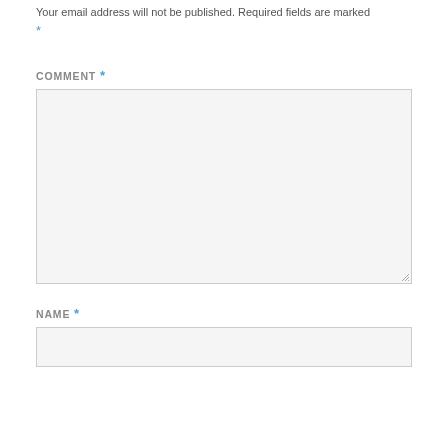Your email address will not be published. Required fields are marked *
COMMENT *
[Figure (screenshot): Large textarea input box with light gray background and resize handle in bottom right corner]
NAME *
[Figure (screenshot): Single-line text input box with light gray background]